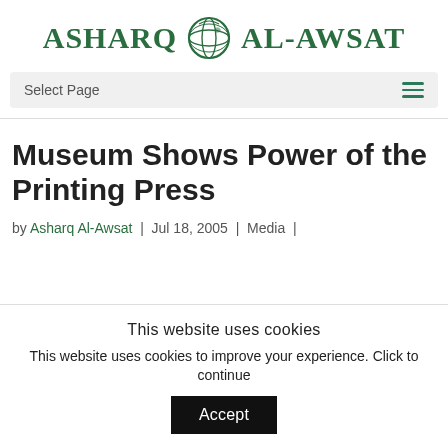[Figure (logo): Asharq Al-Awsat newspaper logo with globe icon in green]
Select Page
Museum Shows Power of the Printing Press
by Asharq Al-Awsat | Jul 18, 2005 | Media |
This website uses cookies
This website uses cookies to improve your experience. Click to continue
Accept